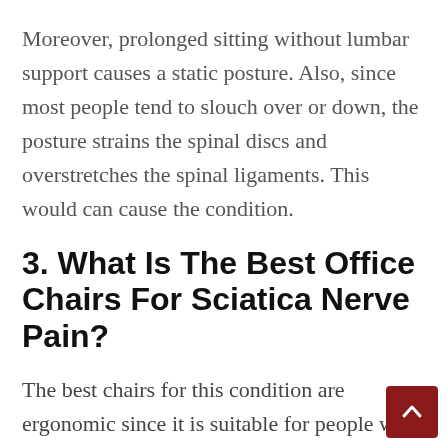Moreover, prolonged sitting without lumbar support causes a static posture. Also, since most people tend to slouch over or down, the posture strains the spinal discs and overstretches the spinal ligaments. This would can cause the condition.
3. What Is The Best Office Chairs For Sciatica Nerve Pain?
The best chairs for this condition are ergonomic since it is suitable for people with pain.
Ergonomic chairs have both head rest and ba...